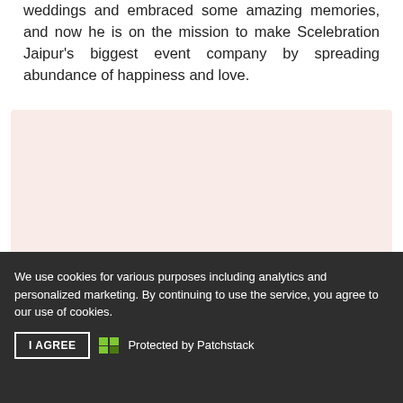weddings and embraced some amazing memories, and now he is on the mission to make Scelebration Jaipur's biggest event company by spreading abundance of happiness and love.
[Figure (other): Pink/blush colored rectangular background box, likely containing an image (not visible in this crop)]
We gather all your requirements and dreams. We then prepare a blueprint and discuss plans with
We use cookies for various purposes including analytics and personalized marketing. By continuing to use the service, you agree to our use of cookies.
I AGREE   Protected by Patchstack